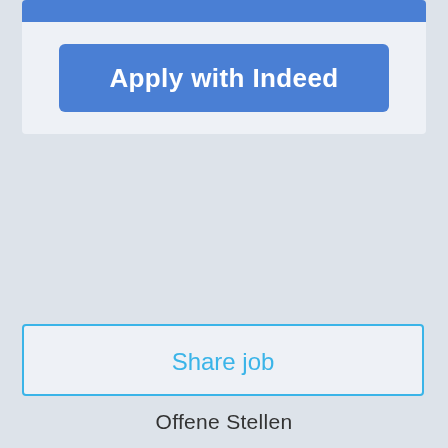[Figure (screenshot): Blue 'Apply with Indeed' button inside a light card]
[Figure (screenshot): 'Share job' outlined button in light blue text]
[Figure (logo): Swapfiets logo in light blue script font]
Offene Stellen